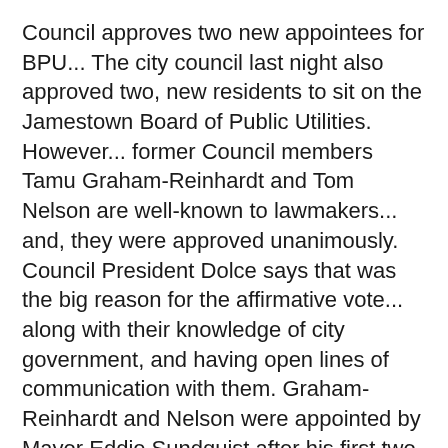Council approves two new appointees for BPU... The city council last night also approved two, new residents to sit on the Jamestown Board of Public Utilities.  However... former Council members Tamu Graham-Reinhardt and Tom Nelson are well-known to lawmakers... and, they were approved unanimously.  Council President Dolce says that was the big reason for the affirmative vote... along with their knowledge of city government, and having open lines of communication with them.  Graham-Reinhardt and Nelson were appointed by Mayor Eddie Sundquist after his first two appointments last month... Shawn Connor and Sabrina Gustafson... were turned down in 4-4 tie votes.  The confirmed appointees will replace Greg Rabb and Jim Olson... who were not reappointed to the BPU.
Home sustains moderate to heavy damage in fire... Jamestown firefighters made fairly quick work of a structure fire on the city's west side last Saturday...